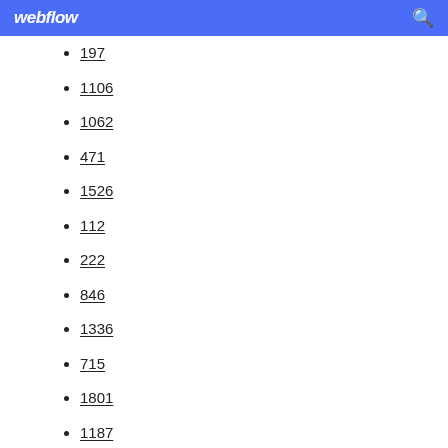webflow
197
1106
1062
471
1526
112
222
846
1336
715
1801
1187
768